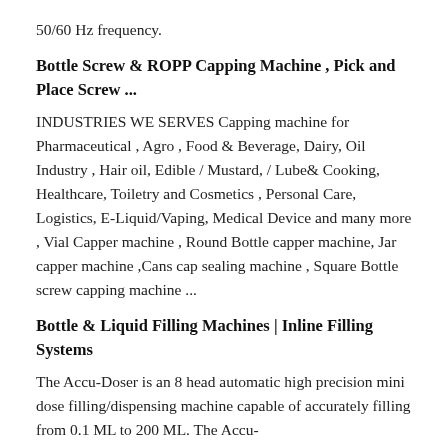50/60 Hz frequency.
Bottle Screw & ROPP Capping Machine , Pick and Place Screw ...
INDUSTRIES WE SERVES Capping machine for Pharmaceutical , Agro , Food & Beverage, Dairy, Oil Industry , Hair oil, Edible / Mustard, / Lube& Cooking, Healthcare, Toiletry and Cosmetics , Personal Care, Logistics, E-Liquid/Vaping, Medical Device and many more , Vial Capper machine , Round Bottle capper machine, Jar capper machine ,Cans cap sealing machine , Square Bottle screw capping machine ...
Bottle & Liquid Filling Machines | Inline Filling Systems
The Accu-Doser is an 8 head automatic high precision mini dose filling/dispensing machine capable of accurately filling from 0.1 ML to 200 ML. The Accu-